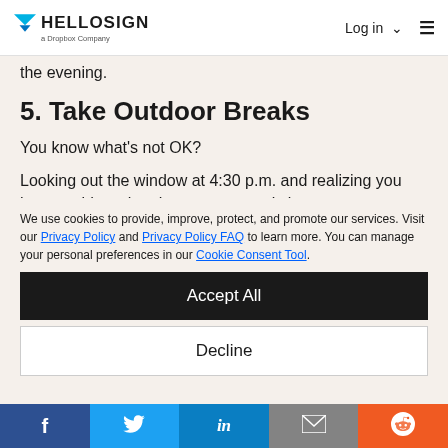HELLOSIGN a Dropbox Company | Log in | Menu
the evening.
5. Take Outdoor Breaks
You know what's not OK?
Looking out the window at 4:30 p.m. and realizing you have no idea what the temperature is because
We use cookies to provide, improve, protect, and promote our services. Visit our Privacy Policy and Privacy Policy FAQ to learn more. You can manage your personal preferences in our Cookie Consent Tool.
Accept All
Decline